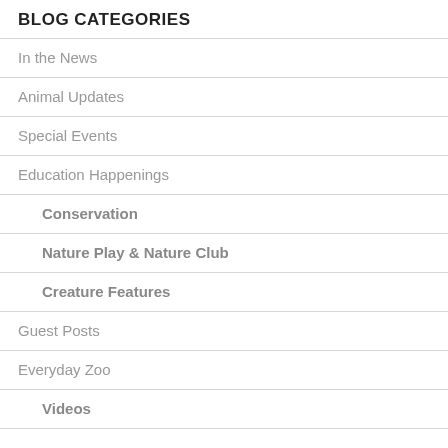BLOG CATEGORIES
In the News
Animal Updates
Special Events
Education Happenings
Conservation
Nature Play & Nature Club
Creature Features
Guest Posts
Everyday Zoo
Videos